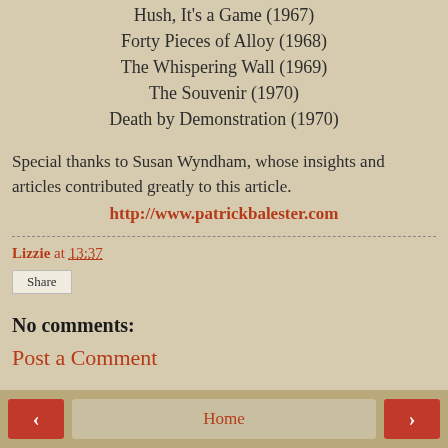Hush, It's a Game (1967)
Forty Pieces of Alloy (1968)
The Whispering Wall (1969)
The Souvenir (1970)
Death by Demonstration (1970)
Special thanks to Susan Wyndham, whose insights and articles contributed greatly to this article.
http://www.patrickbalester.com
Lizzie at 13:37
Share
No comments:
Post a Comment
< Home >